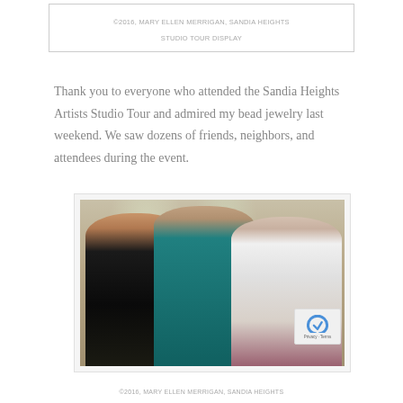©2016, MARY ELLEN MERRIGAN, SANDIA HEIGHTS STUDIO TOUR DISPLAY
Thank you to everyone who attended the Sandia Heights Artists Studio Tour and admired my bead jewelry last weekend. We saw dozens of friends, neighbors, and attendees during the event.
[Figure (photo): Three women posing together indoors at the Sandia Heights Artists Studio Tour. The woman on the left has curly reddish-blonde hair and wears a black top with a patterned wrap. The woman in the center has curly gray-brown hair and wears glasses and a teal blouse with a necklace. The woman on the right has gray hair, glasses, and wears a white jacket with a maroon vest and a beaded necklace.]
©2016, MARY ELLEN MERRIGAN, SANDIA HEIGHTS